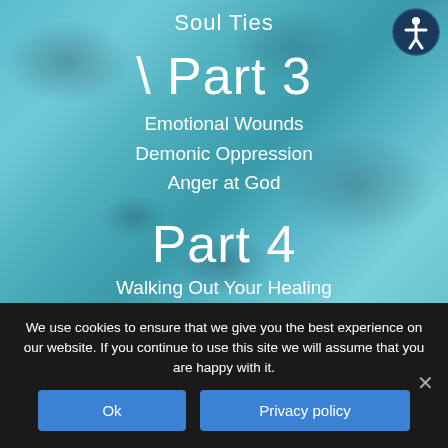[Figure (illustration): Watercolor teal/blue background with dark blotchy watercolor texture overlays, used as a book or series cover image.]
Soul Ties
Part 3
Emotional Wounds
Demonic Oppression
Anger at God
Part 4
Walking Out Your Healing
We use cookies to ensure that we give you the best experience on our website. If you continue to use this site we will assume that you are happy with it.